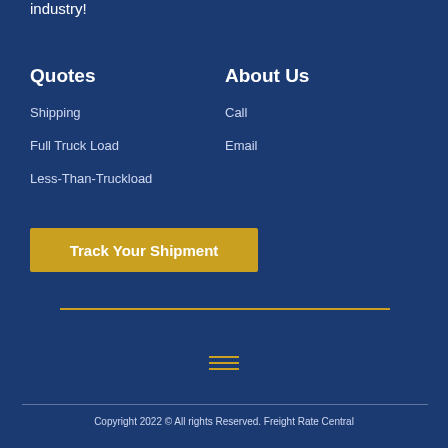industry!
Quotes
About Us
Shipping
Call
Full Truck Load
Email
Less-Than-Truckload
Track Your Shipment
[Figure (other): Hamburger menu icon with three horizontal gold lines]
Copyright 2022 © All rights Reserved. Freight Rate Central